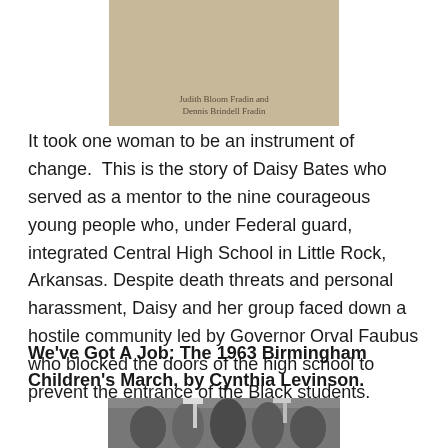[Figure (photo): Book cover image (partial) showing 'Judith Bloom Fradin and Dennis Brindell Fradin' as authors, with a sepia-toned photograph background]
It took one woman to be an instrument of change.  This is the story of Daisy Bates who served as a mentor to the nine courageous young people who, under Federal guard, integrated Central High School in Little Rock, Arkansas. Despite death threats and personal harassment, Daisy and her group faced down a hostile community led by Governor Orval Faubus who blocked the doors of the high school to prevent the entrance of the Black students.
We've Got A Job: The 1963 Birmingham Children's March, by Cynthia Levinson.
[Figure (photo): Black and white photograph of children participating in a march, holding signs]